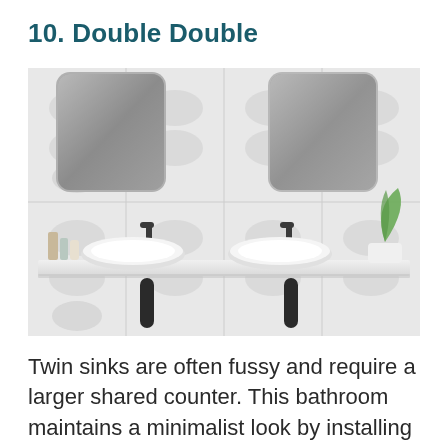10. Double Double
[Figure (photo): A modern minimalist bathroom with two round vessel sinks on a shared floating white shelf. The wall behind features white 3D textured tiles with a diamond/wave pattern. Two rounded rectangular mirrors are mounted on the wall above. Dark matte wall-mounted faucets are installed between the mirrors and sinks. A small white plant pot with a large green leaf is placed to the right. Two black cylindrical elements (possibly supports or pipes) hang below the shelf.]
Twin sinks are often fussy and require a larger shared counter. This bathroom maintains a minimalist look by installing a small floating